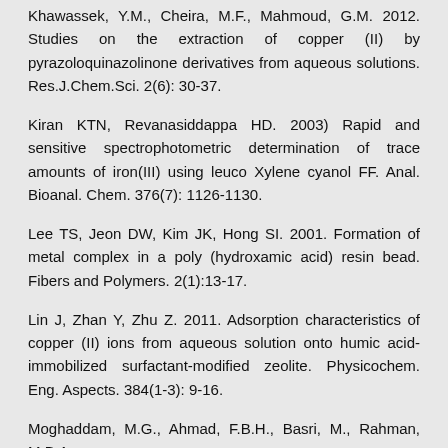Khawassek, Y.M., Cheira, M.F., Mahmoud, G.M. 2012. Studies on the extraction of copper (II) by pyrazoloquinazolinone derivatives from aqueous solutions. Res.J.Chem.Sci. 2(6): 30-37.
Kiran KTN, Revanasiddappa HD. 2003) Rapid and sensitive spectrophotometric determination of trace amounts of iron(III) using leuco Xylene cyanol FF. Anal. Bioanal. Chem. 376(7): 1126-1130.
Lee TS, Jeon DW, Kim JK, Hong SI. 2001. Formation of metal complex in a poly (hydroxamic acid) resin bead. Fibers and Polymers. 2(1):13-17.
Lin J, Zhan Y, Zhu Z. 2011. Adsorption characteristics of copper (II) ions from aqueous solution onto humic acid-immobilized surfactant-modified zeolite. Physicochem. Eng. Aspects. 384(1-3): 9-16.
Moghaddam, M.G., Ahmad, F.B.H., Basri, M., Rahman, M.B.A.